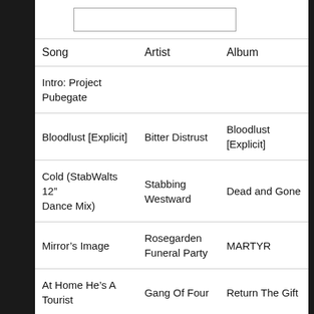| Song | Artist | Album |
| --- | --- | --- |
| Intro: Project Pubegate |  |  |
| Bloodlust [Explicit] | Bitter Distrust | Bloodlust [Explicit] |
| Cold (StabWalts 12" Dance Mix) | Stabbing Westward | Dead and Gone |
| Mirror's Image | Rosegarden Funeral Party | MARTYR |
| At Home He's A Tourist | Gang Of Four | Return The Gift |